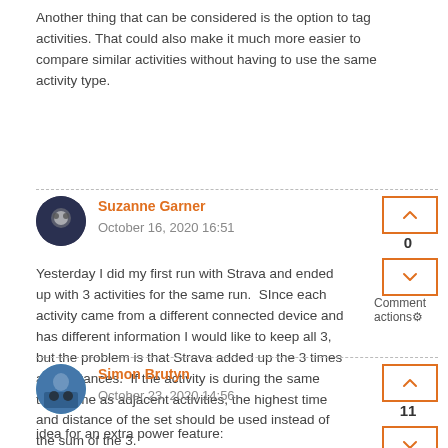Another thing that can be considered is the option to tag activities. That could also make it much more easier to compare similar activities without having to use the same activity type.
Suzanne Garner
October 16, 2020 16:51
Yesterday I did my first run with Strava and ended up with 3 activities for the same run. SInce each activity came from a different connected device and has different information I would like to keep all 3, but the problem is that Strava added up the 3 times and distances. If the activity is during the same timeframe as adjacent activities, the highest time and distance of the set should be used instead of the sum of the 3.
Simon Brutyn
October 23, 2020 14:56
idea for an extra power feature:
Add the possibility to see your evolution for each power interval.